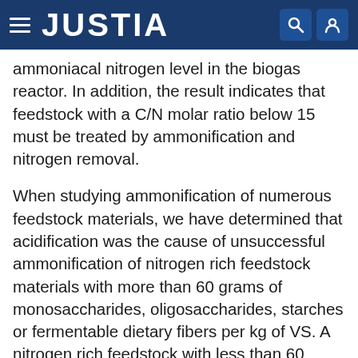JUSTIA
ammoniacal nitrogen level in the biogas reactor. In addition, the result indicates that feedstock with a C/N molar ratio below 15 must be treated by ammonification and nitrogen removal.
When studying ammonification of numerous feedstock materials, we have determined that acidification was the cause of unsuccessful ammonification of nitrogen rich feedstock materials with more than 60 grams of monosaccharides, oligosaccharides, starches or fermentable dietary fibers per kg of VS. A nitrogen rich feedstock with less than 60 grams of monosaccharides, oligosaccharides, starches or fermentable dietary fibers per kg of VS can be fed directly to ammonification. If the feedstock does induce acidification, a preammonification step with a nitrogen rich feedstock is required before adding the acidifying feedstock to the